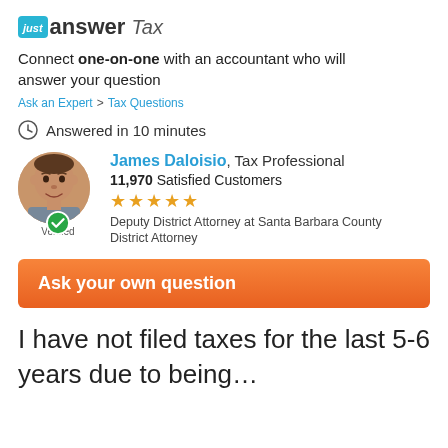[Figure (logo): JustAnswer Tax logo with teal badge and italic 'Tax' text]
Connect one-on-one with an accountant who will answer your question
Ask an Expert > Tax Questions
Answered in 10 minutes
James Daloisio, Tax Professional
11,970 Satisfied Customers
★★★★★
Deputy District Attorney at Santa Barbara County District Attorney
Verified
Ask your own question
I have not filed taxes for the last 5-6 years due to being...